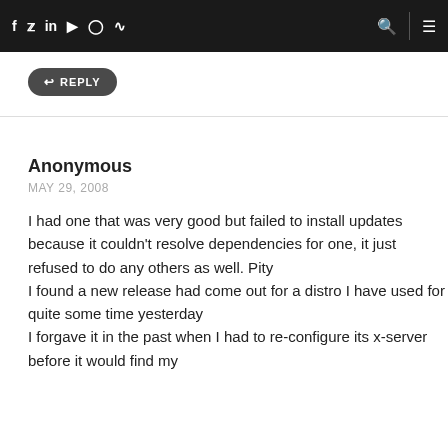f  y  in  ▶  ○  )))   🔍 | ≡
↩ REPLY
Anonymous
MAY 29, 2008
I had one that was very good but failed to install updates because it couldn't resolve dependencies for one, it just refused to do any others as well. Pity
I found a new release had come out for a distro I have used for quite some time yesterday
I forgave it in the past when I had to re-configure its x-server before it would find my